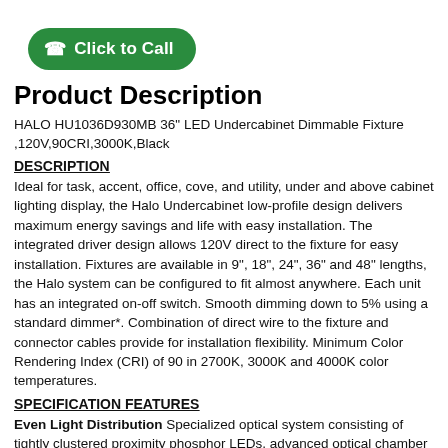[Figure (other): Green 'Click to Call' button with phone icon]
Product Description
HALO HU1036D930MB 36" LED Undercabinet Dimmable Fixture ,120V,90CRI,3000K,Black
DESCRIPTION
Ideal for task, accent, office, cove, and utility, under and above cabinet lighting display, the Halo Undercabinet low-profile design delivers maximum energy savings and life with easy installation. The integrated driver design allows 120V direct to the fixture for easy installation. Fixtures are available in 9", 18", 24", 36" and 48" lengths, the Halo system can be configured to fit almost anywhere. Each unit has an integrated on-off switch. Smooth dimming down to 5% using a standard dimmer*. Combination of direct wire to the fixture and connector cables provide for installation flexibility. Minimum Color Rendering Index (CRI) of 90 in 2700K, 3000K and 4000K color temperatures.
SPECIFICATION FEATURES
Even Light Distribution Specialized optical system consisting of tightly clustered proximity phosphor LEDs, advanced optical chamber coatings and lens materials resulting in soft illumination with very high efficiency. These fixtures are ideal for task lighting